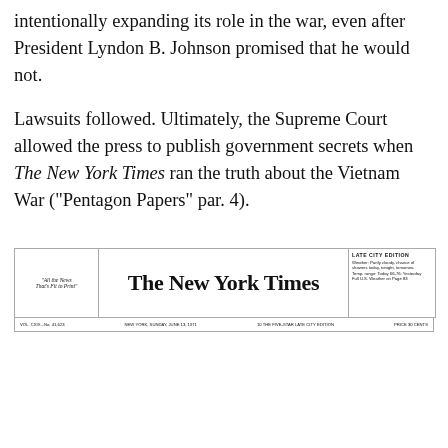intentionally expanding its role in the war, even after President Lyndon B. Johnson promised that he would not.
Lawsuits followed. Ultimately, the Supreme Court allowed the press to publish government secrets when The New York Times ran the truth about the Vietnam War (“Pentagon Papers” par. 4).
[Figure (screenshot): Screenshot of The New York Times newspaper header/masthead with 'LATE CITY EDITION' label, showing the classic NYT blackletter logo, with a cookie consent overlay popup below it reading: 'Privacy & Cookies: This site uses cookies. By continuing to use this website, you agree to their use. To find out more, including how to control cookies, see here: Cookie Policy' and a 'Close and accept' button. Below is a partial view of the newspaper front page bottom strip with 'Vast Review of War Took a Year' headline visible.]